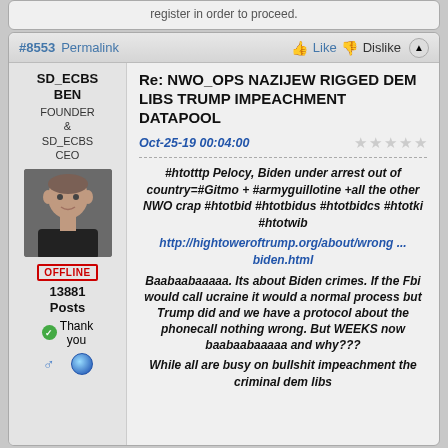register in order to proceed.
#8553  Permalink   Like   Dislike
SD_ECBS BEN
FOUNDER & SD_ECBS CEO
OFFLINE
13881 Posts
Thank you
Re: NWO_OPS NAZIJEW RIGGED DEM LIBS TRUMP IMPEACHMENT DATAPOOL
Oct-25-19 00:04:00
#htotttp Pelocy, Biden under arrest out of country=#Gitmo + #armyguillotine +all the other NWO crap #htotbid #htotbidus #htotbidcs #htotki #htotwib
http://hightoweroftrump.org/about/wrong ... biden.html
Baabaabaaaaa. Its about Biden crimes. If the Fbi would call ucraine it would a normal process but Trump did and we have a protocol about the phonecall nothing wrong. But WEEKS now baabaabaaaaa and why???
While all are busy on bullshit impeachment the criminal dem libs